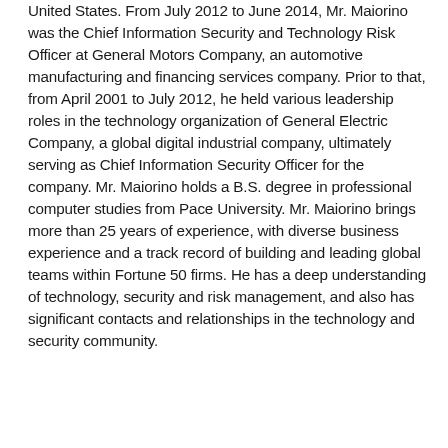United States. From July 2012 to June 2014, Mr. Maiorino was the Chief Information Security and Technology Risk Officer at General Motors Company, an automotive manufacturing and financing services company. Prior to that, from April 2001 to July 2012, he held various leadership roles in the technology organization of General Electric Company, a global digital industrial company, ultimately serving as Chief Information Security Officer for the company. Mr. Maiorino holds a B.S. degree in professional computer studies from Pace University. Mr. Maiorino brings more than 25 years of experience, with diverse business experience and a track record of building and leading global teams within Fortune 50 firms. He has a deep understanding of technology, security and risk management, and also has significant contacts and relationships in the technology and security community.